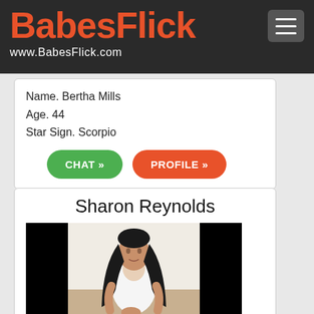BABESFLICK www.BabesFlick.com
Name. Bertha Mills
Age. 44
Star Sign. Scorpio
CHAT » PROFILE »
Sharon Reynolds
[Figure (photo): Profile photo of Sharon Reynolds, a woman with long dark hair wearing a white top, seated on a bed]